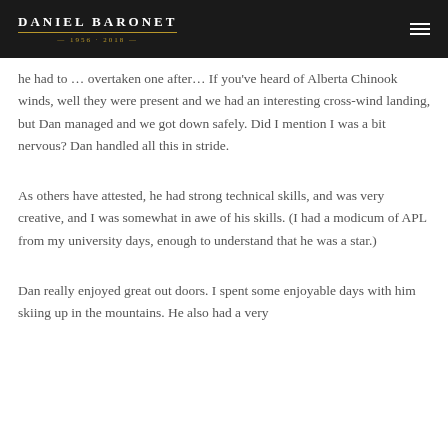DANIEL BARONET 1956 - 2018
he had to ... overtaken one after ... If you've heard of Alberta Chinook winds, well they were present and we had an interesting cross-wind landing, but Dan managed and we got down safely. Did I mention I was a bit nervous? Dan handled all this in stride.
As others have attested, he had strong technical skills, and was very creative, and I was somewhat in awe of his skills. (I had a modicum of APL from my university days, enough to understand that he was a star.)
Dan really enjoyed great out doors. I spent some enjoyable days with him skiing up in the mountains. He also had a very